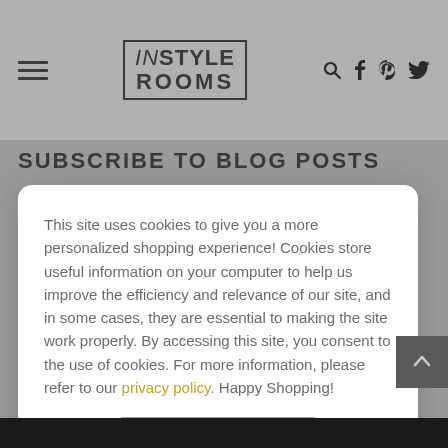InStyle Rooms — navigation header with hamburger menu, logo, and social icons (search, facebook, pinterest, twitter)
SUBSCRIBE TO BLOG POSTS
This site uses cookies to give you a more personalized shopping experience! Cookies store useful information on your computer to help us improve the efficiency and relevance of our site, and in some cases, they are essential to making the site work properly. By accessing this site, you consent to the use of cookies. For more information, please refer to our privacy policy. Happy Shopping!
I AGREE